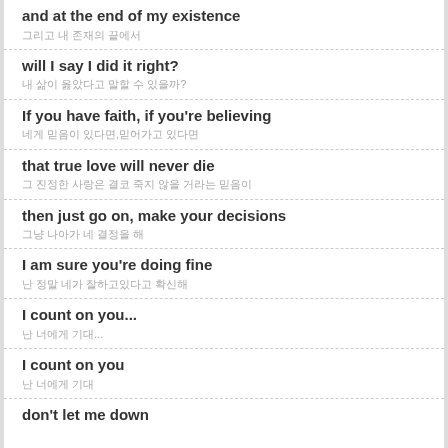and at the end of my existence / 그리고 내 존재의 끝에서
will I say I did it right? / 내 삶이 옳았다고 말할 수 있을까?
If you have faith, if you're believing / 네게 믿음이 있다면,믿어가고 있다면
that true love will never die / 그 진정한 사랑은 결코 죽지 않을 거라는 믿음이
then just go on, make your decisions / 그냥 나아가 네 결정을 해
I am sure you're doing fine / 난 정말 네가 잘하고있다고 확신해
I count on you... / 난 너에게 기대...
I count on you / 난 너에게 기대
don't let me down